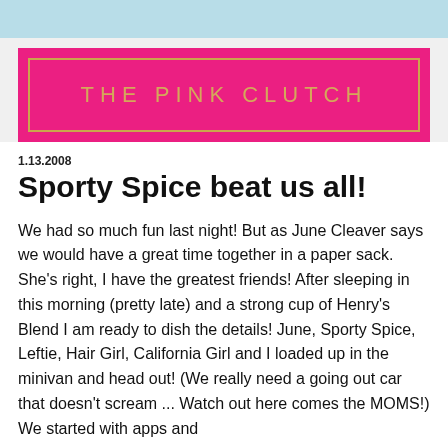[Figure (logo): The Pink Clutch blog logo — hot pink background with gold border and gold lettersspelled out 'THE PINK CLUTCH' in wide letter-spaced uppercase text.]
1.13.2008
Sporty Spice beat us all!
We had so much fun last night! But as June Cleaver says we would have a great time together in a paper sack. She's right, I have the greatest friends! After sleeping in this morning (pretty late) and a strong cup of Henry's Blend I am ready to dish the details! June, Sporty Spice, Leftie, Hair Girl, California Girl and I loaded up in the minivan and head out! (We really need a going out car that doesn't scream ... Watch out here comes the MOMS!) We started with apps and